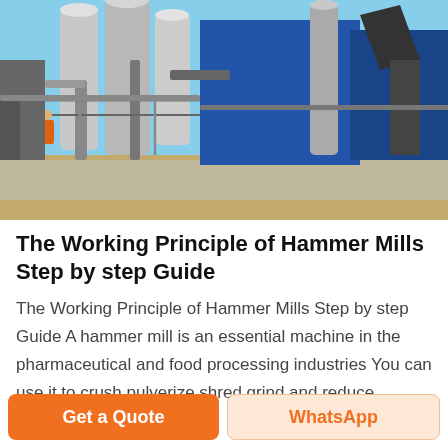[Figure (photo): Industrial hammer mill / processing plant exterior showing large silver cylindrical tanks, pipes, ductwork, and blue panel structures under a blue sky]
The Working Principle of Hammer Mills Step by step Guide
The Working Principle of Hammer Mills Step by step Guide A hammer mill is an essential machine in the pharmaceutical and food processing industries You can use it to crush pulverize shred grind and reduce
Get a Quote
WhatsApp